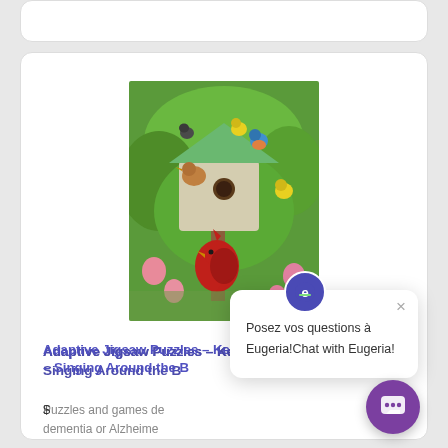[Figure (screenshot): Screenshot of a product listing page showing a jigsaw puzzle with birds around a birdhouse, with a chat popup overlay from Eugeria]
Adaptive Jigsaw Puzzles – Keeping Birds – 35 pieces – Singing Around the B...
Puzzles and games designed for people with dementia or Alzheimer... Spend quality time wi...
Posez vos questions à Eugeria!Chat with Eugeria!